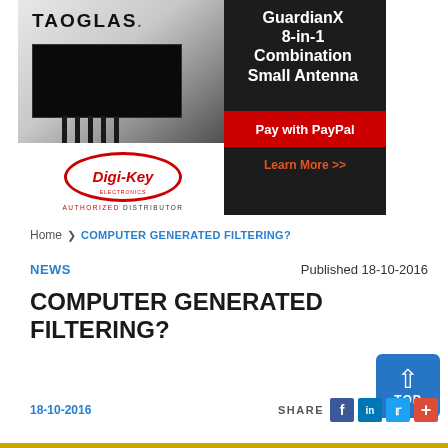[Figure (advertisement): Taoglas GuardianX 8-in-1 Combination Small Antenna advertisement with Digi-Key Electronics as Authorized Distributor. Shows antenna product image, PayPal payment option, and Learn More link.]
Home > COMPUTER GENERATED FILTERING?
NEWS    Published 18-10-2016
COMPUTER GENERATED FILTERING?
18-10-2016    SHARE